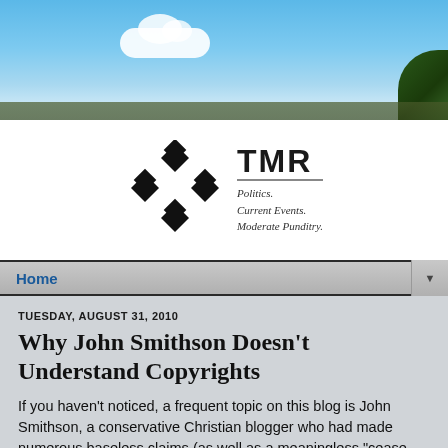[Figure (photo): Website header banner with blue sky, white clouds, and green foliage on right edge]
[Figure (logo): TMR blog logo with four black diamonds arranged in a 2x2 grid and text 'TMR Politics. Current Events. Moderate Punditry.']
Home
TUESDAY, AUGUST 31, 2010
Why John Smithson Doesn't Understand Copyrights
If you haven't noticed, a frequent topic on this blog is John Smithson, a conservative Christian blogger who had made numerous baseless claims (as well as a meaningless "cease and desist") against this website.  One particular subject matter is copyright infringement, mainly because Smithson